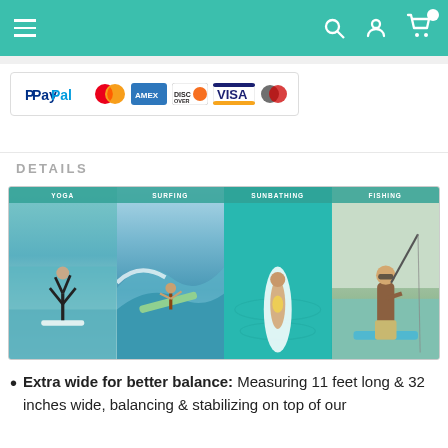[Figure (screenshot): E-commerce website navigation bar with teal/green background showing hamburger menu on left and search, account, and cart icons on right]
[Figure (logo): Payment method logos: PayPal, Mastercard, American Express, Discover, Visa, Maestro]
DETAILS
[Figure (photo): Four activity panels showing uses for paddle board: YOGA (person doing handstand on board on water), SURFING (person surfing wave on board), SUNBATHING (person lying on board on teal water from aerial view), FISHING (man standing on board fishing)]
Extra wide for better balance: Measuring 11 feet long & 32 inches wide, balancing & stabilizing on top of our